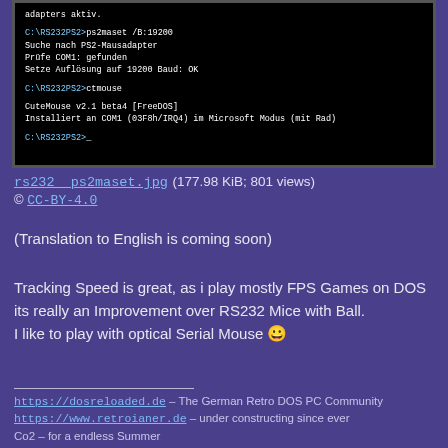[Figure (screenshot): Black terminal/DOS screen showing ps2maset and ctmouse commands with output text in white on black background]
rs232__ps2maset.jpg (177.98 KiB; 801 views)
© CC-BY-4.0
(Translation to English is coming soon)
Tracking Speed is great, as i play mostly FPS Games on DOS its really an Improvement over RS232 Mice with Ball. I like to play with optical Serial Mouse 😀
https://dosreloaded.de – The German Retro DOS PC Community
https://www.retroianer.de – under constructing since ever
Co2 – for a endless Summer